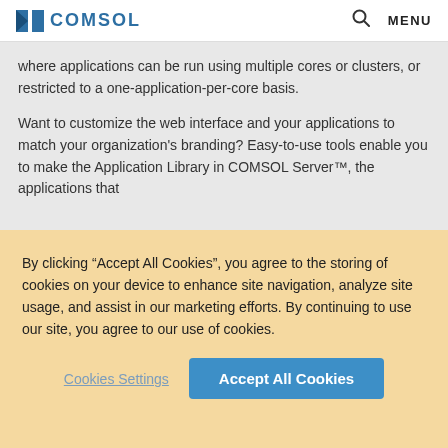COMSOL — Search — MENU
where applications can be run using multiple cores or clusters, or restricted to a one-application-per-core basis.
Want to customize the web interface and your applications to match your organization's branding? Easy-to-use tools enable you to make the Application Library in COMSOL Server™, the applications that
By clicking “Accept All Cookies”, you agree to the storing of cookies on your device to enhance site navigation, analyze site usage, and assist in our marketing efforts. By continuing to use our site, you agree to our use of cookies.
Cookies Settings
Accept All Cookies